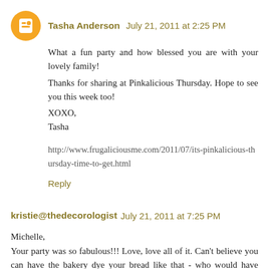Tasha Anderson  July 21, 2011 at 2:25 PM
What a fun party and how blessed you are with your lovely family!
Thanks for sharing at Pinkalicious Thursday. Hope to see you this week too!
XOXO,
Tasha

http://www.frugaliciousme.com/2011/07/its-pinkalicious-thursday-time-to-get.html
Reply
kristie@thedecorologist  July 21, 2011 at 7:25 PM
Michelle,
Your party was so fabulous!!! Love, love all of it. Can't believe you can have the bakery dye your bread like that - who would have thought???
Reply